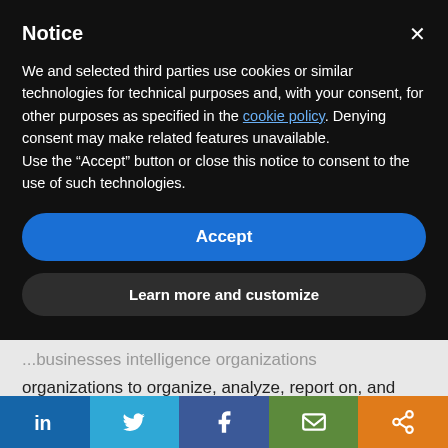Notice
We and selected third parties use cookies or similar technologies for technical purposes and, with your consent, for other purposes as specified in the cookie policy. Denying consent may make related features unavailable.
Use the “Accept” button or close this notice to consent to the use of such technologies.
Accept
Learn more and customize
organizations to organize, analyze, report on, and visualize data. For more on business intelligence, refer to our article, “Business Intelligence for Nonprofits—Four Steps”.